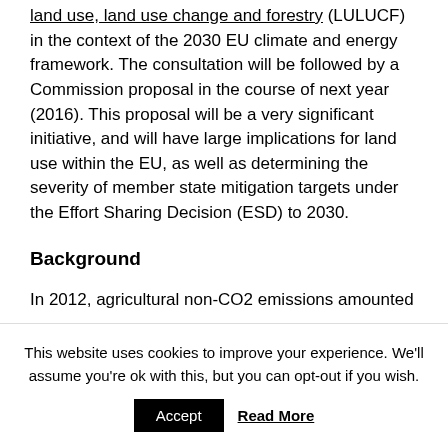land use, land use change and forestry (LULUCF) in the context of the 2030 EU climate and energy framework. The consultation will be followed by a Commission proposal in the course of next year (2016). This proposal will be a very significant initiative, and will have large implications for land use within the EU, as well as determining the severity of member state mitigation targets under the Effort Sharing Decision (ESD) to 2030.
Background
In 2012, agricultural non-CO2 emissions amounted
This website uses cookies to improve your experience. We'll assume you're ok with this, but you can opt-out if you wish.